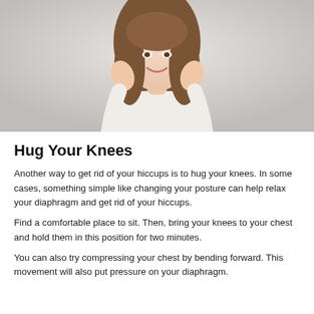[Figure (photo): A smiling young woman with long brown hair wearing a white top, hands raised near her face/neck, posed against a light grey background.]
Hug Your Knees
Another way to get rid of your hiccups is to hug your knees. In some cases, something simple like changing your posture can help relax your diaphragm and get rid of your hiccups.
Find a comfortable place to sit. Then, bring your knees to your chest and hold them in this position for two minutes.
You can also try compressing your chest by bending forward. This movement will also put pressure on your diaphragm.